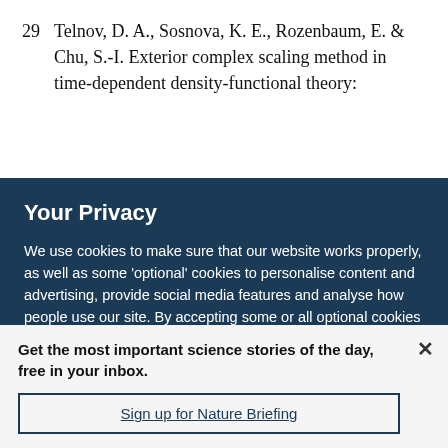29  Telnov, D. A., Sosnova, K. E., Rozenbaum, E. & Chu, S.-I. Exterior complex scaling method in time-dependent density-functional theory:
Your Privacy
We use cookies to make sure that our website works properly, as well as some 'optional' cookies to personalise content and advertising, provide social media features and analyse how people use our site. By accepting some or all optional cookies you give consent to the processing of your personal data, including transfer to third parties, some in countries outside of the European Economic Area that do not offer the same data protection standards as the country where you live. You can decide which optional cookies to accept by clicking on 'Manage Settings', where you can
Get the most important science stories of the day, free in your inbox.
Sign up for Nature Briefing